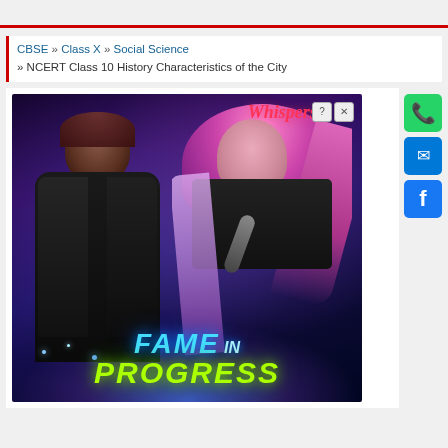CBSE » Class X » Social Science » NCERT Class 10 History Characteristics of the City
[Figure (illustration): Advertisement image showing animated characters - a man in black leather jacket and a woman with pink hair holding a microphone, with 'Whispers' logo and 'FAME IN PROGRESS' text. Social sharing buttons (WhatsApp, Email, Facebook) on the right side.]